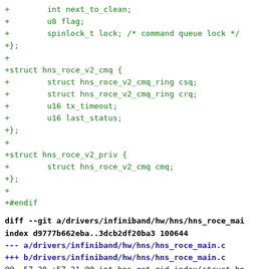+        int next_to_clean;
+        u8 flag;
+        spinlock_t lock; /* command queue lock */
+};
+
+struct hns_roce_v2_cmq {
+        struct hns_roce_v2_cmq_ring csq;
+        struct hns_roce_v2_cmq_ring crq;
+        u16 tx_timeout;
+        u16 last_status;
+};
+
+struct hns_roce_v2_priv {
+        struct hns_roce_v2_cmq cmq;
+};
+
+#endif

diff --git a/drivers/infiniband/hw/hns/hns_roce_mai
index d9777b662eba..3dcb2df20ba3 100644
--- a/drivers/infiniband/hw/hns/hns_roce_main.c
+++ b/drivers/infiniband/hw/hns/hns_roce_main.c
@@ -57,20 +57,21 @@ int hns_get_gid_index(struct hn
 {
         return gid_index * hr_dev->caps.num_ports +
 }
+EXPORT_SYMBOL_GPL(hns_get_gid_index);